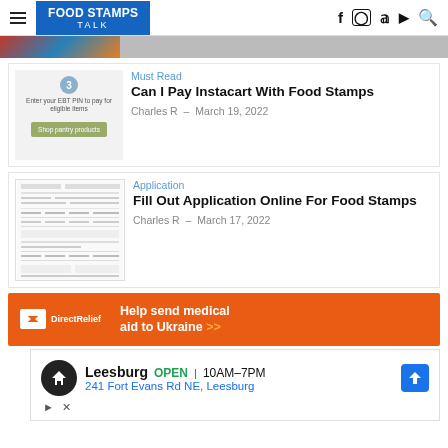FOOD STAMPS TALK
[Figure (screenshot): Partial image of food-related content at top]
Must Read
Can I Pay Instacart With Food Stamps
Charles R  –  March 19, 2022
[Figure (screenshot): Instacart EBT payment step screenshot with step 3 circle, text 'Enter your EBT PIN to pay for eligible items', and green 'Shop pantry products' button]
Application
Fill Out Application Online For Food Stamps
Charles R  –  March 17, 2022
[Figure (screenshot): Food Stamps application form document screenshot]
[Figure (infographic): Direct Relief orange ad banner: Help send medical aid to Ukraine >>]
[Figure (screenshot): Google Maps style ad showing Leesburg store: OPEN 10AM-7PM, 241 Fort Evans Rd NE, Leesburg with navigation icon]